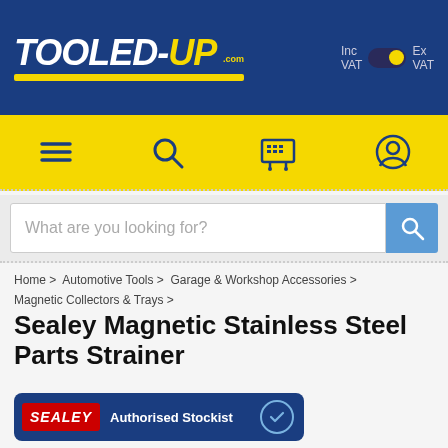TOOLED-UP.com
[Figure (logo): Tooled-Up.com logo in white/yellow italic text on dark blue header background with Inc VAT / Ex VAT toggle]
[Figure (infographic): Yellow navigation bar with hamburger menu, search, cart, and account icons]
What are you looking for?
Home > Automotive Tools > Garage & Workshop Accessories > Magnetic Collectors & Trays >
Sealey Magnetic Stainless Steel Parts Strainer
[Figure (logo): Sealey Authorised Stockist badge on dark blue pill-shaped background with red Sealey logo and checkmark]